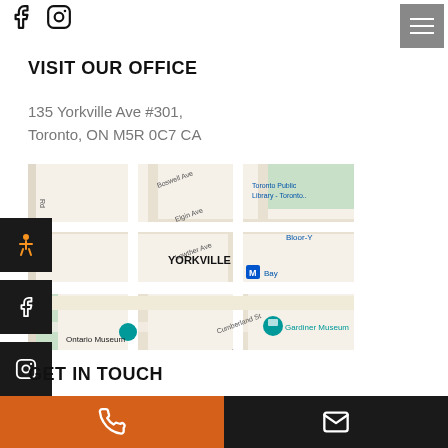[Figure (logo): Facebook and Instagram social media icons at top left]
[Figure (other): Hamburger menu button at top right]
VISIT OUR OFFICE
135 Yorkville Ave #301,
Toronto, ON M5R 0C7 CA
[Figure (map): Google Maps view of Yorkville area in Toronto showing Boswell Ave, Elgin Ave, Lowther Ave, Cumberland St, Bloor St W, Bay subway station, Toronto Public Library, Gardiner Museum, and Ontario Museum]
[Figure (other): Left sidebar with accessibility icon, Facebook icon, and Instagram icon on dark background]
GET IN TOUCH
Get in touch with our team with questions, or book
[Figure (other): Bottom bar with orange phone button on left and dark email button on right]